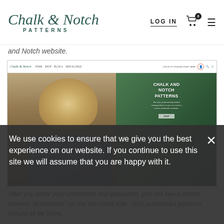[Figure (screenshot): Chalk and Notch Patterns website header with logo, LOG IN link, cart icon with 0 badge, and hamburger menu]
and Notch website.
[Figure (screenshot): Screenshot of the Chalk and Notch Patterns website showing the full navigation bar and hero image of a blonde woman with text CHALK AND NOTCH PATTERNS overlay]
After you enter your username and password, you will see a button labeled "downloads" on the left-hand side. Your purchased patterns should all be there.
We use cookies to ensure that we give you the best experience on our website. If you continue to use this site we will assume that you are happy with it.